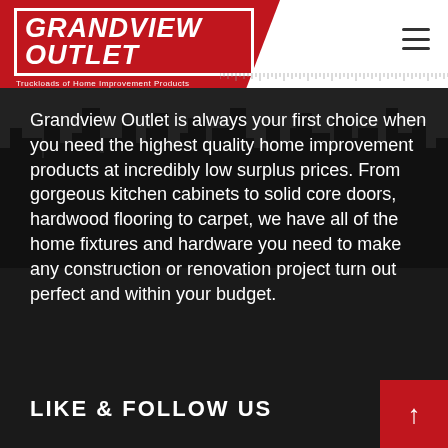[Figure (logo): Grandview Outlet logo with red background, stylized text 'GRANDVIEW OUTLET' in white italic bold font with border, subtitle 'Truckloads of Home Improvement Products']
Grandview Outlet is always your first choice when you need the highest quality home improvement products at incredibly low surplus prices. From gorgeous kitchen cabinets to solid core doors, hardwood flooring to carpet, we have all of the home fixtures and hardware you need to make any construction or renovation project turn out perfect and within your budget.
LIKE & FOLLOW US